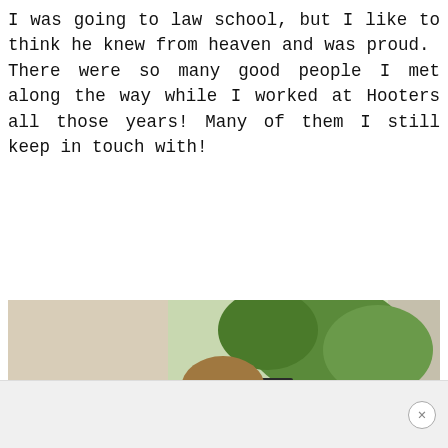I was going to law school, but I like to think he knew from heaven and was proud.  There were so many good people I met along the way while I worked at Hooters all those years! Many of them I still keep in touch with!
[Figure (photo): A woman with long blonde ombre hair, wearing sunglasses, a black sleeveless top, and layered teal beaded necklaces, smiling outdoors on a sidewalk in front of a building with trees and a street lamp in the background.]